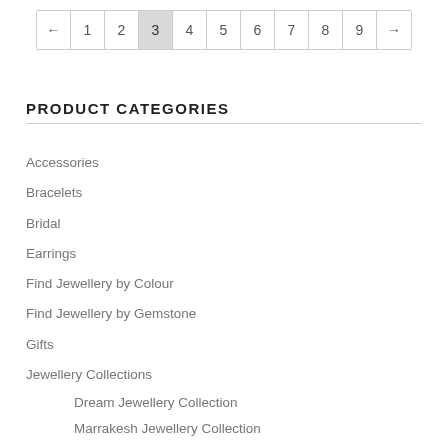[Figure (other): Pagination control showing pages 1-9 with page 3 currently active/highlighted, with left arrow (←) and right arrow (→) navigation buttons]
PRODUCT CATEGORIES
Accessories
Bracelets
Bridal
Earrings
Find Jewellery by Colour
Find Jewellery by Gemstone
Gifts
Jewellery Collections
Dream Jewellery Collection
Marrakesh Jewellery Collection
New York Jewellery Collection